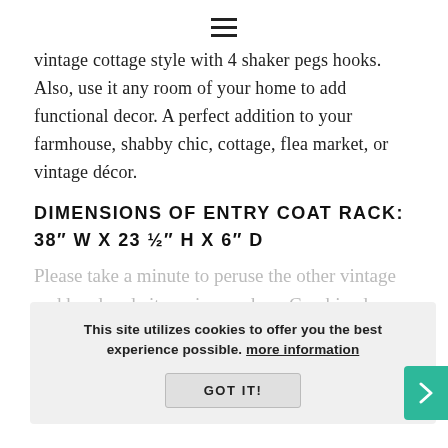☰
vintage cottage style with 4 shaker pegs hooks. Also, use it any room of your home to add functional decor. A perfect addition to your farmhouse, shabby chic, cottage, flea market, or vintage décor.
DIMENSIONS OF ENTRY COAT RACK: 38″ W X 23 ½″ H X 6″ D
Please take a minute to peruse the other vintage and handmade items in my shop. Combined shipping available! Just send us your zip code for a quote. See more of